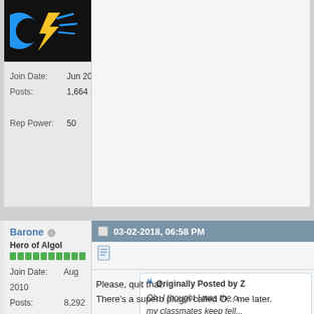[Figure (logo): Black background with a blue and yellow stylized lightning bolt logo]
Join Date: Jun 2012
Posts: 1,664
Rep Power: 50
03-02-2018, 06:58 PM
Barone
Hero of Algol
Join Date: Aug 2010
Posts: 8,292
Rep Power: 199
Originally Posted by Z
Oh, I thought I was the o... my classmates keep tell... have open!" and I'm like ... later!". But I hate it when... next time open it, they're... configured them to retur... last used the browser.
Please, quit that.
There's a superb plugin called O... me later.